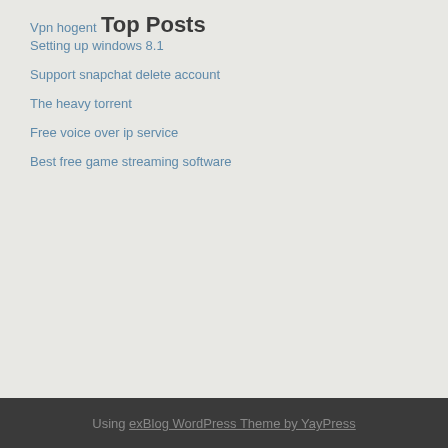Vpn hogent
Top Posts
Setting up windows 8.1
Support snapchat delete account
The heavy torrent
Free voice over ip service
Best free game streaming software
Using exBlog WordPress Theme by YayPress